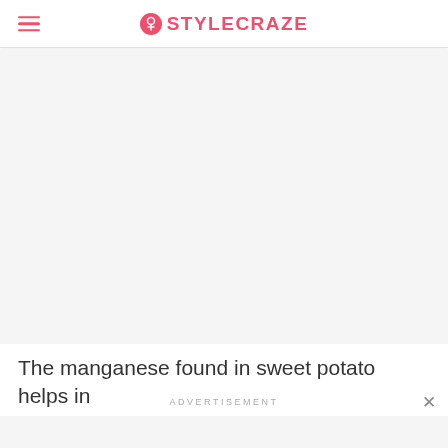STYLECRAZE
[Figure (photo): Large image placeholder area, light gray background, content not visible]
The manganese found in sweet potato helps in
ADVERTISEMENT